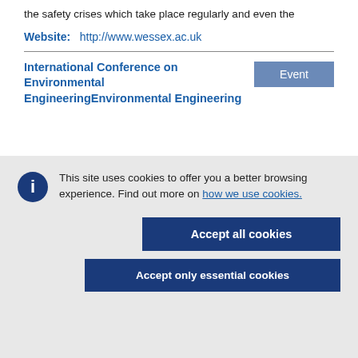the safety crises which take place regularly and even the
Website:   http://www.wessex.ac.uk
International Conference on Environmental Engineering
Event
This site uses cookies to offer you a better browsing experience. Find out more on how we use cookies.
Accept all cookies
Accept only essential cookies